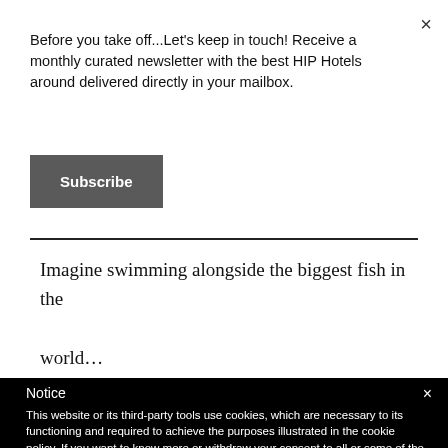Before you take off...Let's keep in touch! Receive a monthly curated newsletter with the best HIP Hotels around delivered directly in your mailbox.
Subscribe
Imagine swimming alongside the biggest fish in the world…
Notice
This website or its third-party tools use cookies, which are necessary to its functioning and required to achieve the purposes illustrated in the cookie policy. If you want to know more or withdraw your consent to all or some of the cookies, please refer to the cookie policy.
By closing this banner, scrolling this page, clicking a link or continuing to browse otherwise, you agree to the use of cookies.